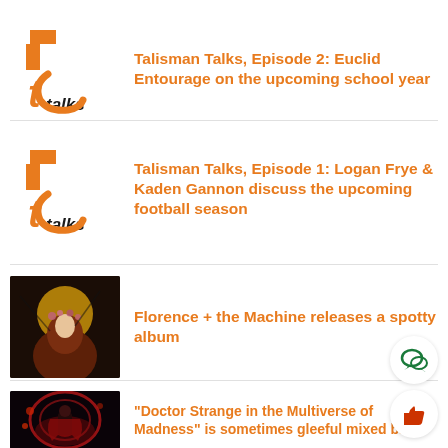Talisman Talks, Episode 2: Euclid Entourage on the upcoming school year
Talisman Talks, Episode 1: Logan Frye & Kaden Gannon discuss the upcoming football season
[Figure (photo): Woman with long red hair and flower crown in front of golden moon]
Florence + the Machine releases a spotty album
[Figure (photo): Doctor Strange in red cloak standing in mystical corridor with red lights]
“Doctor Strange in the Multiverse of Madness” is sometimes gleeful mixed ba…